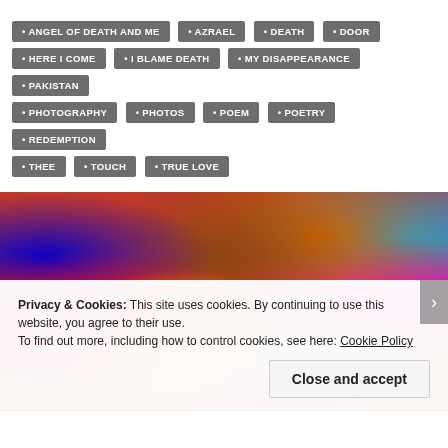ANGEL OF DEATH AND ME
AZRAEL
DEATH
DOOR
HERE I COME
I BLAME DEATH
MY DISAPPEARANCE
PAKISTAN
PHOTOGRAPHY
PHOTOS
POEM
POETRY
REDEMPTION
THEE
TOUCH
TRUE LOVE
[Figure (photo): Colorful embroidered fabric textiles with vibrant patterns in red, blue, yellow, orange, pink, and green]
Privacy & Cookies: This site uses cookies. By continuing to use this website, you agree to their use. To find out more, including how to control cookies, see here: Cookie Policy
Close and accept